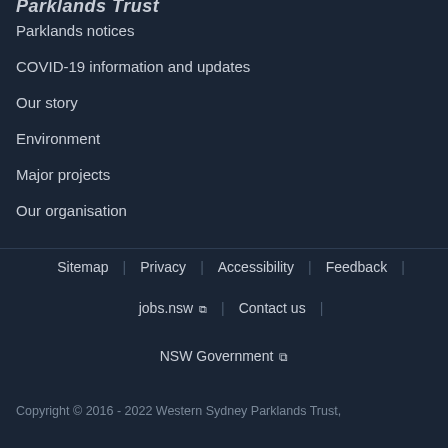Parklands Trust
Parklands notices
COVID-19 information and updates
Our story
Environment
Major projects
Our organisation
Sitemap | Privacy | Accessibility | Feedback |
jobs.nsw [external] | Contact us |
NSW Government [external]
Copyright © 2016 - 2022 Western Sydney Parklands Trust,